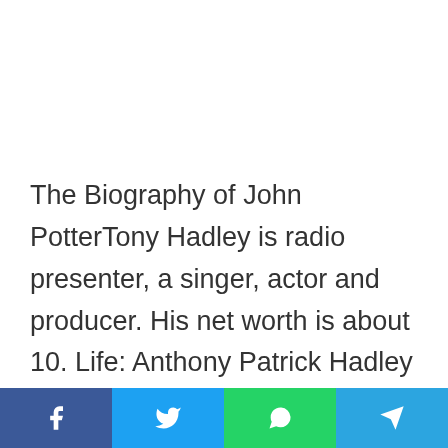The Biography of John PotterTony Hadley is radio presenter, a singer, actor and producer. His net worth is about 10. Life: Anthony Patrick Hadley was created on June 2, 1960 at Islington. He grew up with one sister and a brother. His mom worked for his dad and the health jurisdiction was an engineer. with his pals, during college years, Spandau Ballet was